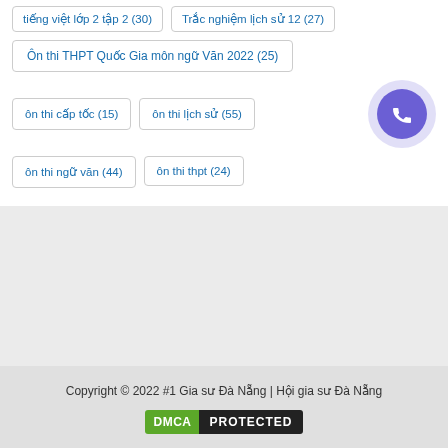tiếng việt lớp 2 tập 2 (30)
Trắc nghiệm lịch sử 12 (27)
Ôn thi THPT Quốc Gia môn ngữ Văn 2022 (25)
ôn thi cấp tốc (15)
ôn thi lịch sử (55)
ôn thi ngữ văn (44)
ôn thi thpt (24)
Copyright © 2022 #1 Gia sư Đà Nẵng | Hội gia sư Đà Nẵng